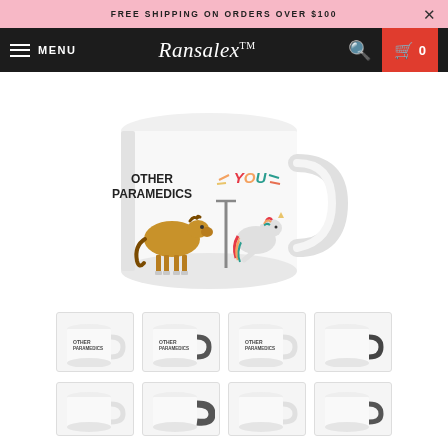FREE SHIPPING ON ORDERS OVER $100
Ransalex™ MENU
[Figure (photo): White ceramic mug with printed design showing a regular horse labeled 'OTHER PARAMEDICS' and a rainbow unicorn pole dancing labeled 'YOU']
[Figure (photo): Row of mug thumbnail variants - white handle and dark handle versions]
[Figure (photo): Second row of mug thumbnail variants partially visible]